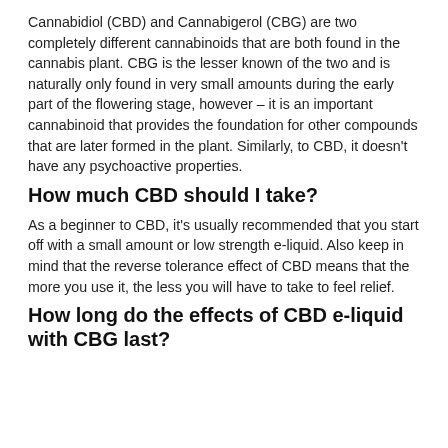Cannabidiol (CBD) and Cannabigerol (CBG) are two completely different cannabinoids that are both found in the cannabis plant. CBG is the lesser known of the two and is naturally only found in very small amounts during the early part of the flowering stage, however – it is an important cannabinoid that provides the foundation for other compounds that are later formed in the plant. Similarly, to CBD, it doesn't have any psychoactive properties.
How much CBD should I take?
As a beginner to CBD, it's usually recommended that you start off with a small amount or low strength e-liquid. Also keep in mind that the reverse tolerance effect of CBD means that the more you use it, the less you will have to take to feel relief.
How long do the effects of CBD e-liquid with CBG last?